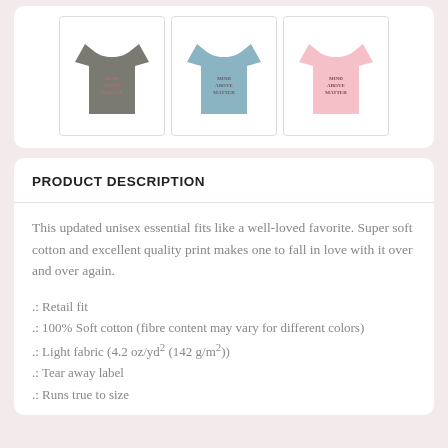[Figure (photo): Three t-shirts shown side by side: gray, blue, and pink, each with 'Mind Above Matter' text printed on front]
PRODUCT DESCRIPTION
This updated unisex essential fits like a well-loved favorite. Super soft cotton and excellent quality print makes one to fall in love with it over and over again.
.: Retail fit
.: 100% Soft cotton (fibre content may vary for different colors)
.: Light fabric (4.2 oz/yd² (142 g/m²))
.: Tear away label
.: Runs true to size